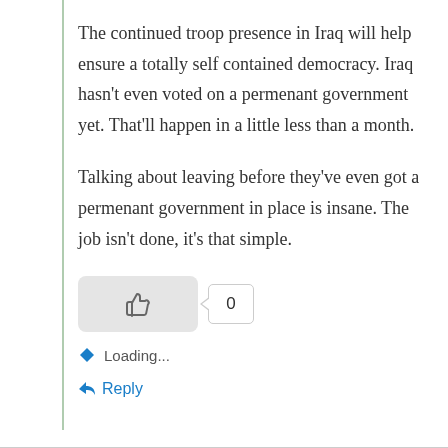The continued troop presence in Iraq will help ensure a totally self contained democracy. Iraq hasn't even voted on a permenant government yet. That'll happen in a little less than a month.
Talking about leaving before they've even got a permenant government in place is insane. The job isn't done, it's that simple.
[Figure (other): Like button widget with thumbs-up icon and a count badge showing 0]
Loading...
Reply